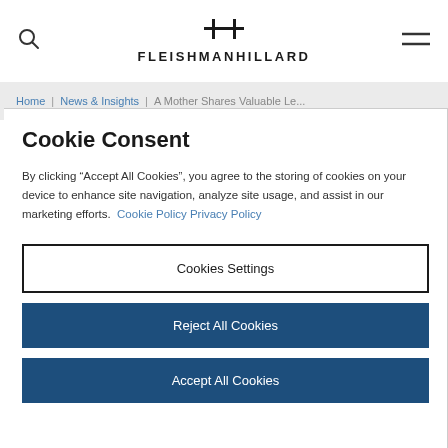FleishmanHillard logo with search and menu icons
Home | News & Insights | A Mother Shares Valuable Le...
Cookie Consent
By clicking “Accept All Cookies”, you agree to the storing of cookies on your device to enhance site navigation, analyze site usage, and assist in our marketing efforts. Cookie Policy Privacy Policy
Cookies Settings
Reject All Cookies
Accept All Cookies